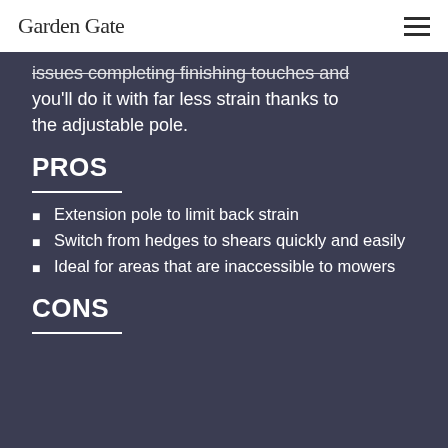Garden Gate
issues completing finishing touches and you'll do it with far less strain thanks to the adjustable pole.
PROS
Extension pole to limit back strain
Switch from hedges to shears quickly and easily
Ideal for areas that are inaccessible to mowers
CONS